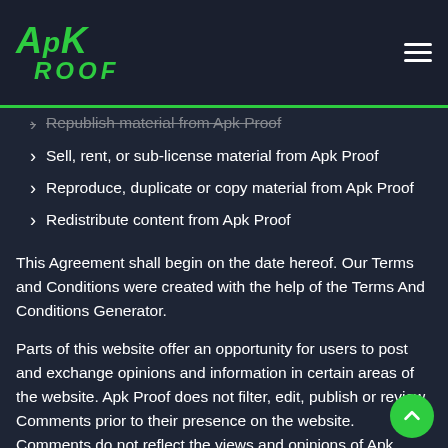APK ROOF
Republish material from Apk Proof
Sell, rent, or sub-license material from Apk Proof
Reproduce, duplicate or copy material from Apk Proof
Redistribute content from Apk Proof
This Agreement shall begin on the date hereof. Our Terms and Conditions were created with the help of the Terms And Conditions Generator.
Parts of this website offer an opportunity for users to post and exchange opinions and information in certain areas of the website. Apk Proof does not filter, edit, publish or review Comments prior to their presence on the website. Comments do not reflect the views and opinions of Apk Proof, its agents, and/or affiliates. Comments reflect the views and opinions of the person who posts their views and opinions. To the extent permitte